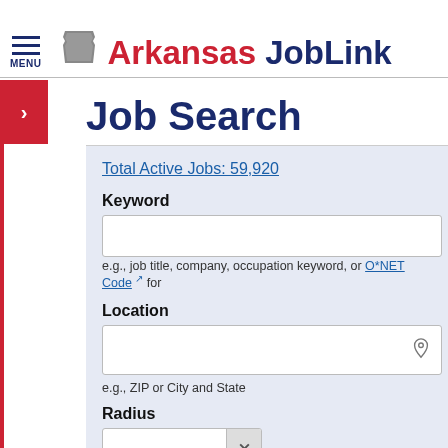MENU — Arkansas JobLink
Job Search
Total Active Jobs: 59,920
Keyword
e.g., job title, company, occupation keyword, or O*NET Code for
Location
e.g., ZIP or City and State
Radius